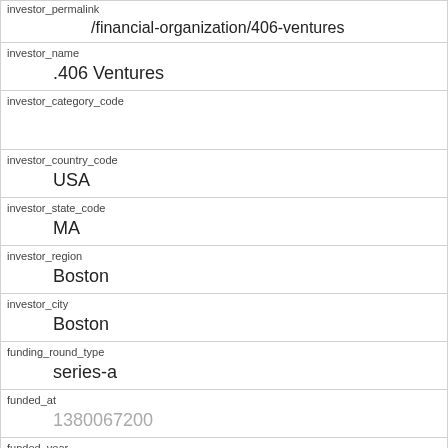| investor_permalink | /financial-organization/406-ventures |
| investor_name | .406 Ventures |
| investor_category_code |  |
| investor_country_code | USA |
| investor_state_code | MA |
| investor_region | Boston |
| investor_city | Boston |
| funding_round_type | series-a |
| funded_at | 1380067200 |
| funded_year | 2013 |
| raised_amount_usd |  |